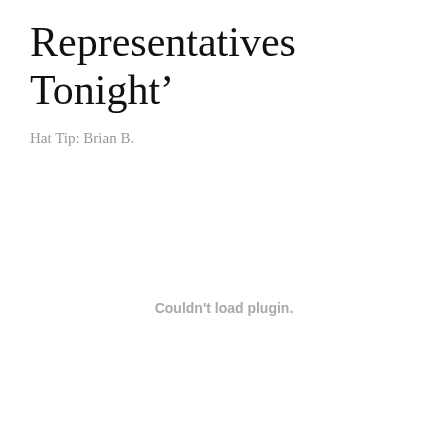Representatives Tonight’
Hat Tip: Brian B.
Couldn't load plugin.